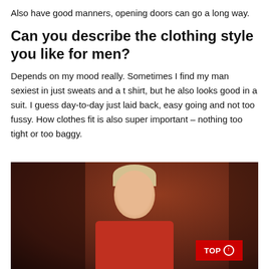Also have good manners, opening doors can go a long way.
Can you describe the clothing style you like for men?
Depends on my mood really. Sometimes I find my man sexiest in just sweats and a t shirt, but he also looks good in a suit. I guess day-to-day just laid back, easy going and not too fussy. How clothes fit is also super important – nothing too tight or too baggy.
[Figure (photo): Photograph of a blonde woman wearing a red outfit, at what appears to be an evening event with dark background and warm lighting. A red 'TOP' button with an arrow is overlaid in the bottom right corner.]